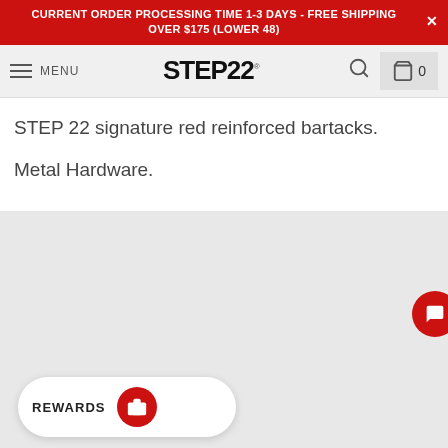CURRENT ORDER PROCESSING TIME 1-3 DAYS - FREE SHIPPING OVER $175 (LOWER 48)
MENU  STEP22  0
STEP 22 signature red reinforced bartacks.
Metal Hardware.
[Figure (screenshot): Gray background section with a red circular button on the right side containing a chat/message icon, and a white rounded REWARDS bar at the bottom left with a red circular icon.]